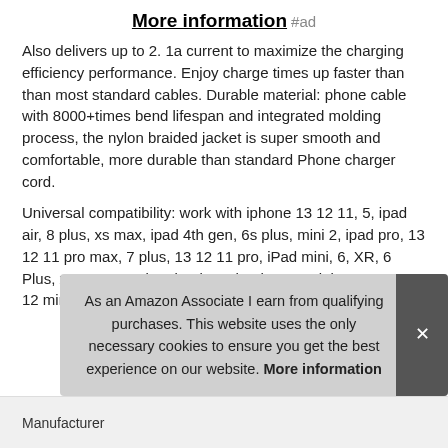More information #ad
Also delivers up to 2. 1a current to maximize the charging efficiency performance. Enjoy charge times up faster than than most standard cables. Durable material: phone cable with 8000+times bend lifespan and integrated molding process, the nylon braided jacket is super smooth and comfortable, more durable than standard Phone charger cord.
Universal compatibility: work with iphone 13 12 11, 5, ipad air, 8 plus, xs max, ipad 4th gen, 6s plus, mini 2, ipad pro, 13 12 11 pro max, 7 plus, 13 12 11 pro, iPad mini, 6, XR, 6 Plus, xs, 5C, 6S, air 2, ipod touch 5th gen, mini 4, 5s, 7, 13 12 mini, 8, X, iPod nano 7th gen and Beats Pill+
As an Amazon Associate I earn from qualifying purchases. This website uses the only necessary cookies to ensure you get the best experience on our website. More information
Manufacturer